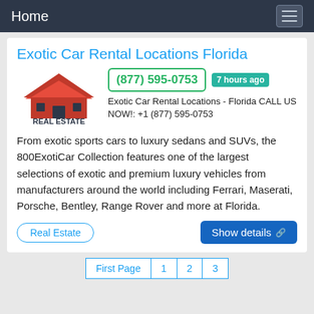Home
Exotic Car Rental Locations Florida
[Figure (logo): Real Estate logo with red house icon and REAL ESTATE text]
(877) 595-0753  7 hours ago  Exotic Car Rental Locations - Florida CALL US NOW!: +1 (877) 595-0753 From exotic sports cars to luxury sedans and SUVs, the 800ExotiCar Collection features one of the largest selections of exotic and premium luxury vehicles from manufacturers around the world including Ferrari, Maserati, Porsche, Bentley, Range Rover and more at Florida.
Real Estate
Show details
First Page  1  2  3